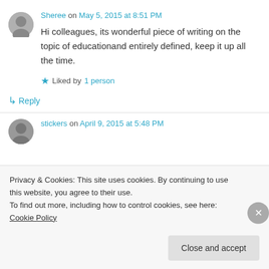Sheree on May 5, 2015 at 8:51 PM
Hi colleagues, its wonderful piece of writing on the topic of educationand entirely defined, keep it up all the time.
Liked by 1 person
↳ Reply
stickers on April 9, 2015 at 5:48 PM
Privacy & Cookies: This site uses cookies. By continuing to use this website, you agree to their use. To find out more, including how to control cookies, see here: Cookie Policy
Close and accept